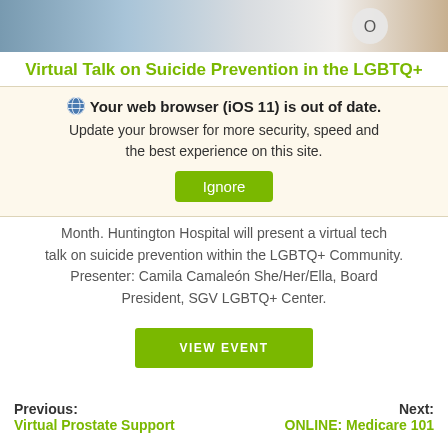[Figure (photo): Cropped photo showing partial view of a person, top portion of page]
Virtual Talk on Suicide Prevention in the LGBTQ+
🌐 Your web browser (iOS 11) is out of date. Update your browser for more security, speed and the best experience on this site. Ignore
Month. Huntington Hospital will present a virtual tech talk on suicide prevention within the LGBTQ+ Community. Presenter: Camila Camaleón She/Her/Ella, Board President, SGV LGBTQ+ Center.
VIEW EVENT
Previous: Virtual Prostate Support
Next: ONLINE: Medicare 101